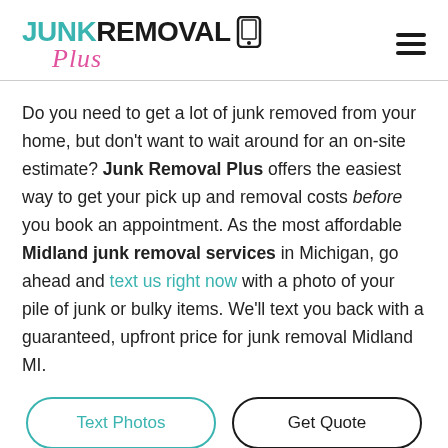[Figure (logo): Junk Removal Plus logo with teal 'JUNK', black 'REMOVAL', phone icon, and pink cursive 'Plus' text]
Do you need to get a lot of junk removed from your home, but don't want to wait around for an on-site estimate? Junk Removal Plus offers the easiest way to get your pick up and removal costs before you book an appointment. As the most affordable Midland junk removal services in Michigan, go ahead and text us right now with a photo of your pile of junk or bulky items. We'll text you back with a guaranteed, upfront price for junk removal Midland MI.
Text Photos
Get Quote